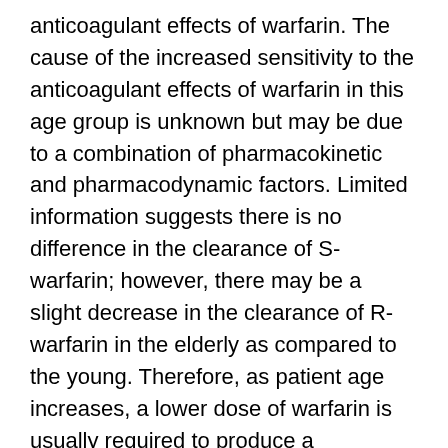anticoagulant effects of warfarin. The cause of the increased sensitivity to the anticoagulant effects of warfarin in this age group is unknown but may be due to a combination of pharmacokinetic and pharmacodynamic factors. Limited information suggests there is no difference in the clearance of S-warfarin; however, there may be a slight decrease in the clearance of R-warfarin in the elderly as compared to the young. Therefore, as patient age increases, a lower dose of warfarin is usually required to produce a therapeutic level of anticoagulation.
Asian Patients
Asian patients may require lower initiation and maintenance doses of warfarin. A non-controlled study of 151 Chinese outpatients stabilized on